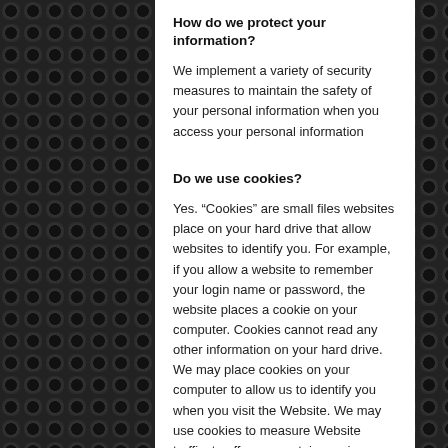How do we protect your information?
We implement a variety of security measures to maintain the safety of your personal information when you access your personal information
Do we use cookies?
Yes. “Cookies” are small files websites place on your hard drive that allow websites to identify you. For example, if you allow a website to remember your login name or password, the website places a cookie on your computer. Cookies cannot read any other information on your hard drive. We may place cookies on your computer to allow us to identify you when you visit the Website. We may use cookies to measure Website traffic, to offer you certain services, or to customize your visit. However, if you do not wish to receive cookies, or want to be notified of when they are placed, your